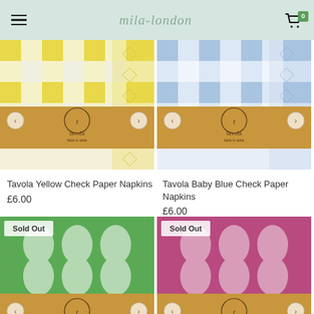mila-london (navigation header with hamburger menu and cart showing 0)
[Figure (photo): Tavola Yellow Check Paper Napkins product image with kraft paper band labeled 'tavola fable to table']
Tavola Yellow Check Paper Napkins
£6.00
[Figure (photo): Tavola Baby Blue Check Paper Napkins product image with kraft paper band labeled 'tavola fable to table']
Tavola Baby Blue Check Paper Napkins
£6.00
[Figure (photo): Green damask pattern paper napkins with Sold Out badge and tavola brand kraft band]
[Figure (photo): Pink/mauve damask pattern paper napkins with Sold Out badge and tavola brand kraft band]